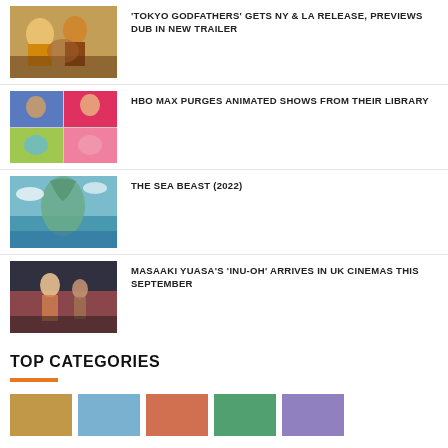[Figure (photo): Thumbnail for Tokyo Godfathers article – animated scene with characters in warm colors]
'TOKYO GODFATHERS' GETS NY & LA RELEASE, PREVIEWS DUB IN NEW TRAILER
[Figure (photo): Thumbnail for HBO Max article – grid of animated show screenshots]
HBO MAX PURGES ANIMATED SHOWS FROM THEIR LIBRARY
[Figure (photo): Thumbnail for The Sea Beast – blue/teal scene of a sea creature]
THE SEA BEAST (2022)
[Figure (photo): Thumbnail for Inu-Oh article – dark animated scene]
MASAAKI YUASA'S 'INU-OH' ARRIVES IN UK CINEMAS THIS SEPTEMBER
TOP CATEGORIES
[Figure (photo): Bottom row of category thumbnail images]